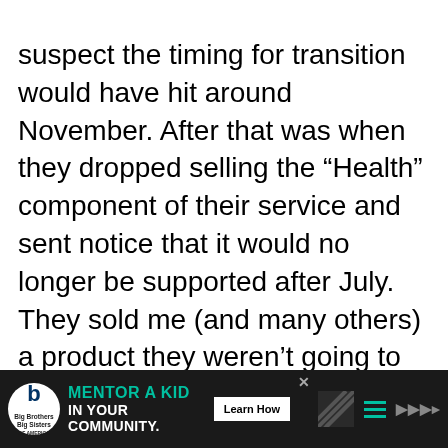suspect the timing for transition would have hit around November. After that was when they dropped selling the “Health” component of their service and sent notice that it would no longer be supported after July. They sold me (and many others) a product they weren’t going to support and they knew it when they sold it. That’s a scam. First thing
[Figure (infographic): Advertisement banner for Big Brothers Big Sisters: 'MENTOR A KID IN YOUR COMMUNITY.' with a Learn How button, decorative stripes, hamburger menu icon, and audio/settings icon on dark background.]